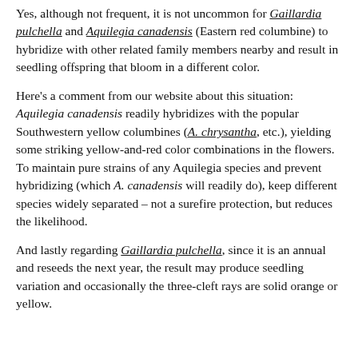Yes, although not frequent, it is not uncommon for Gaillardia pulchella and Aquilegia canadensis (Eastern red columbine) to hybridize with other related family members nearby and result in seedling offspring that bloom in a different color.
Here's a comment from our website about this situation: Aquilegia canadensis readily hybridizes with the popular Southwestern yellow columbines (A. chrysantha, etc.), yielding some striking yellow-and-red color combinations in the flowers. To maintain pure strains of any Aquilegia species and prevent hybridizing (which A. canadensis will readily do), keep different species widely separated – not a surefire protection, but reduces the likelihood.
And lastly regarding Gaillardia pulchella, since it is an annual and reseeds the next year, the result may produce seedling variation and occasionally the three-cleft rays are solid orange or yellow.